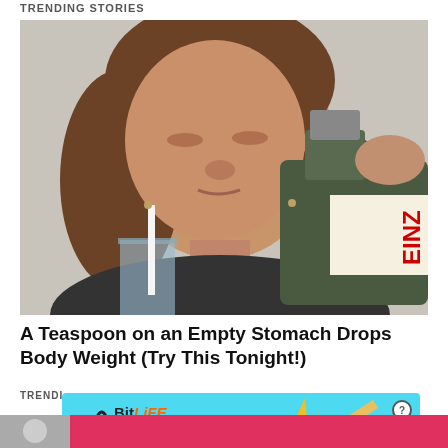TRENDING STORIES
[Figure (photo): Woman pouring liquid from a Heinz bottle into a glass]
A Teaspoon on an Empty Stomach Drops Body Weight (Try This Tonight!)
TRENDING NEW FINDS
[Figure (infographic): Advertisement banner for BitLife game with GOD MODE feature, showing wave graphic, lightning bolt thumb icon, and close/help controls]